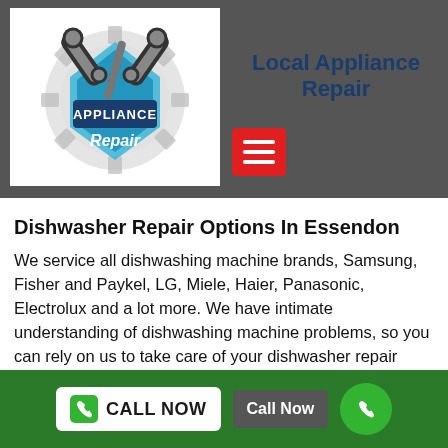[Figure (logo): Appliance Repair logo with wrenches and gear, text 'APPLIANCE Repair']
Local Appliance Repair
[Figure (other): Red hamburger menu icon with three white horizontal lines]
Dishwasher Repair Options In Essendon
We service all dishwashing machine brands, Samsung, Fisher and Paykel, LG, Miele, Haier, Panasonic, Electrolux and a lot more. We have intimate understanding of dishwashing machine problems, so you can rely on us to take care of your dishwasher repair work.
CALL NOW  Call Now